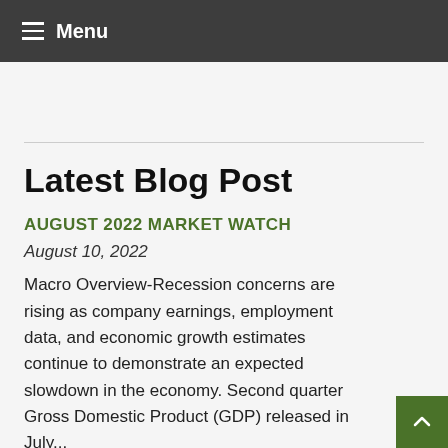Menu
Latest Blog Post
AUGUST 2022 MARKET WATCH
August 10, 2022
Macro Overview-Recession concerns are rising as company earnings, employment data, and economic growth estimates continue to demonstrate an expected slowdown in the economy. Second quarter Gross Domestic Product (GDP) released in July...